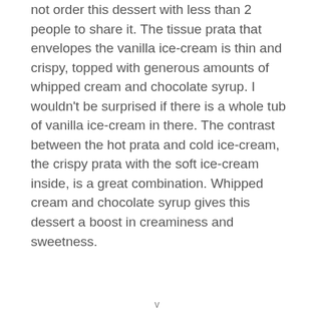not order this dessert with less than 2 people to share it. The tissue prata that envelopes the vanilla ice-cream is thin and crispy, topped with generous amounts of whipped cream and chocolate syrup. I wouldn't be surprised if there is a whole tub of vanilla ice-cream in there. The contrast between the hot prata and cold ice-cream, the crispy prata with the soft ice-cream inside, is a great combination. Whipped cream and chocolate syrup gives this dessert a boost in creaminess and sweetness.
v